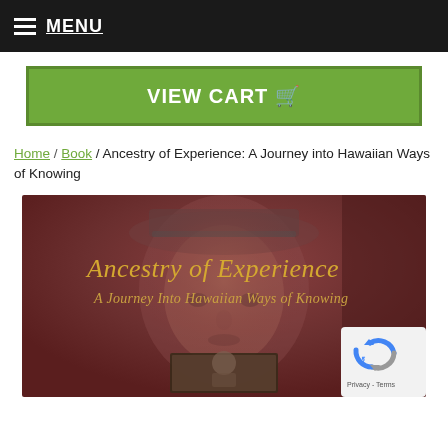MENU
VIEW CART
Home / Book / Ancestry of Experience: A Journey into Hawaiian Ways of Knowing
[Figure (photo): Book cover of 'Ancestry of Experience: A Journey Into Hawaiian Ways of Knowing' — dark brownish-red background with a faded portrait of a person wearing a decorated cap. Title text in gold/yellow reads 'Ancestry of Experience' and subtitle 'A Journey Into Hawaiian Ways of Knowing'. A small inset photograph appears at the bottom center.]